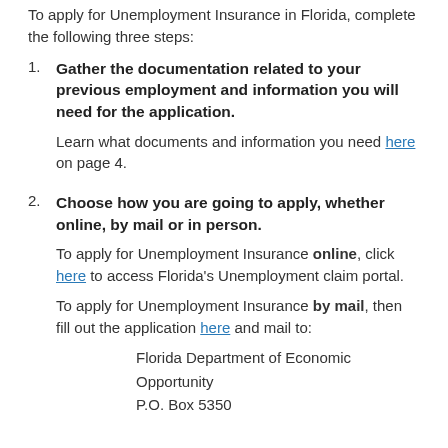To apply for Unemployment Insurance in Florida, complete the following three steps:
Gather the documentation related to your previous employment and information you will need for the application. Learn what documents and information you need here on page 4.
Choose how you are going to apply, whether online, by mail or in person. To apply for Unemployment Insurance online, click here to access Florida's Unemployment claim portal. To apply for Unemployment Insurance by mail, then fill out the application here and mail to: Florida Department of Economic Opportunity P.O. Box 5350